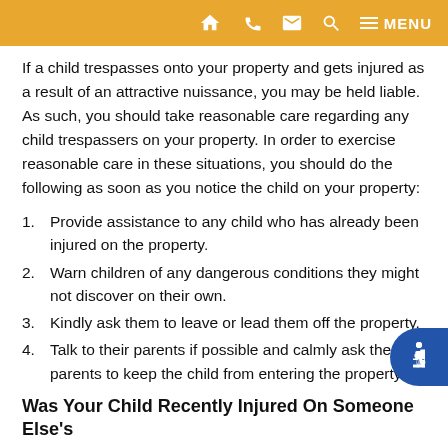MENU navigation bar with home, phone, mail, search, menu icons
If a child trespasses onto your property and gets injured as a result of an attractive nuissance, you may be held liable. As such, you should take reasonable care regarding any child trespassers on your property. In order to exercise reasonable care in these situations, you should do the following as soon as you notice the child on your property:
Provide assistance to any child who has already been injured on the property.
Warn children of any dangerous conditions they might not discover on their own.
Kindly ask them to leave or lead them off the property.
Talk to their parents if possible and calmly ask the parents to keep the child from entering the property.
Was Your Child Recently Injured On Someone Else's